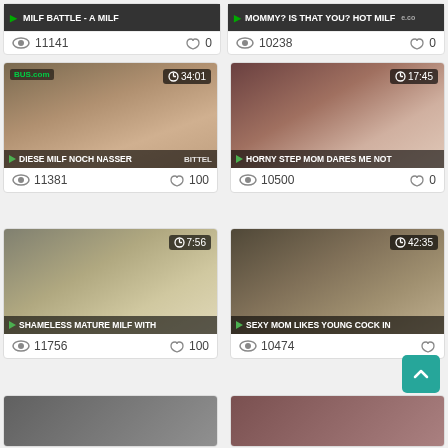[Figure (screenshot): Video thumbnail grid showing adult video website with 6 visible cards. Top row partial: 'MILF BATTLE - A MILF' (11141 views, 0 likes), 'MOMMY? IS THAT YOU? HOT MILF' (10238 views, 0 likes). Middle row: 'DIESE MILF NOCH NASSER' 34:01 (11381 views, 100 likes), 'HORNY STEP MOM DARES ME NOT' 17:45 (10500 views, 0 likes). Lower row: 'SHAMELESS MATURE MILF WITH' 7:56 (11756 views, 100 likes), 'SEXY MOM LIKES YOUNG COCK IN' 42:35 (10474 views). Teal scroll-to-top button bottom right.]